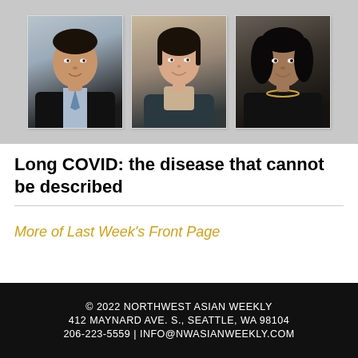[Figure (photo): Three portrait photos of medical professionals against a gray background: an Asian man in a suit with a tie, an Asian woman smiling, and a South Asian woman with curly dark hair and a necklace.]
Long COVID: the disease that cannot be described
More of Last Week's Front Page
© 2022 NORTHWEST ASIAN WEEKLY
412 MAYNARD AVE. S., SEATTLE, WA 98104
206-223-5559  |  INFO@NWASIANWEEKLY.COM